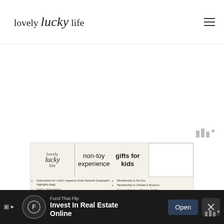lovely lucky life
[Figure (screenshot): Advertisement image for 'lovely lucky life' blog featuring non-toy experience gifts for kids, with a list including Subscription for a kids' magazine, KiwiCo Subscription, Membership to the Zoo, Membership to Children's Museum, Season Passes to Science Center]
[Figure (infographic): Bottom advertisement bar: Fund That Flip - Invest In Real Estate Online, with Open button and close X button]